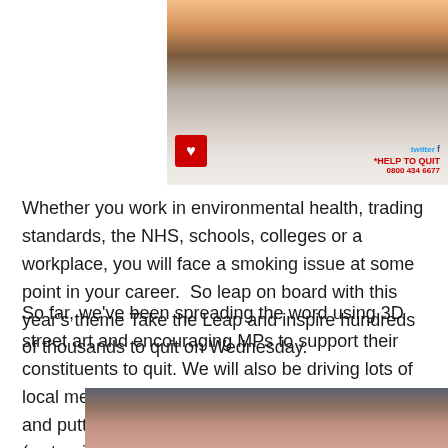[Figure (photo): A cigarette being stubbed out, with NHS quit smoking branding, heart logo, twitter icon, 'HELP TO QUIT 0800 434 6677']
Whether you work in environmental health, trading standards, the NHS, schools, colleges or a workplace, you will face a smoking issue at some point in your career.  So leap on board with this year's theme Take the Leap and inspire hundreds of thousands to quit on Wednesday.
So far, we've been spreading the word using 3D street art and encouraging MPs to support their constituents to quit. We will also be driving lots of local media coverage with events in local areas and putting out a story about the rise of shisha (waterpipe smoking) bars in the UK.
[Figure (photo): People in a street scene, partial view at bottom of page]